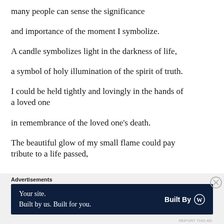many people can sense the significance
and importance of the moment I symbolize.
A candle symbolizes light in the darkness of life,
a symbol of holy illumination of the spirit of truth.
I could be held tightly and lovingly in the hands of a loved one
in remembrance of the loved one’s death.
The beautiful glow of my small flame could pay tribute to a life passed,
Advertisements
Your site. Built by us. Built for you. Built By WordPress